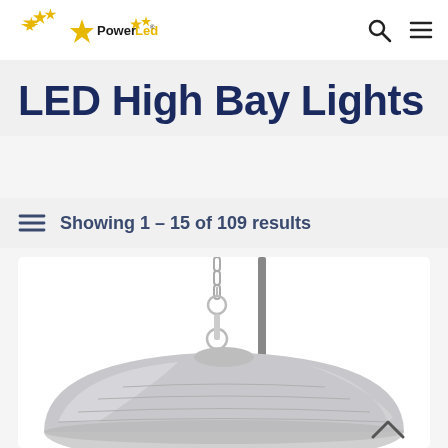PowerLed — LED High Bay Lights
LED High Bay Lights
Showing 1 – 15 of 109 results
[Figure (photo): LED High Bay light fixture with chain mount and dome-shaped silver/chrome housing, shown hanging from ceiling mount]